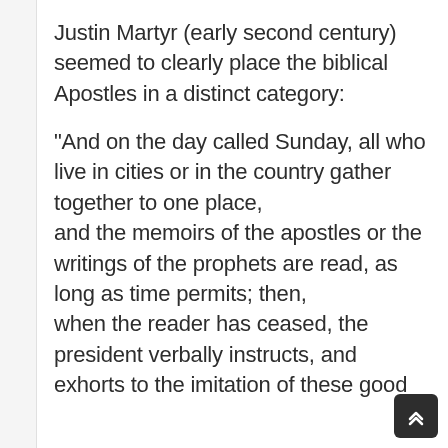Justin Martyr (early second century) seemed to clearly place the biblical Apostles in a distinct category:
“And on the day called Sunday, all who live in cities or in the country gather together to one place,
and the memoirs of the apostles or the writings of the prophets are read, as long as time permits; then,
when the reader has ceased, the president verbally instructs, and exhorts to the imitation of these good